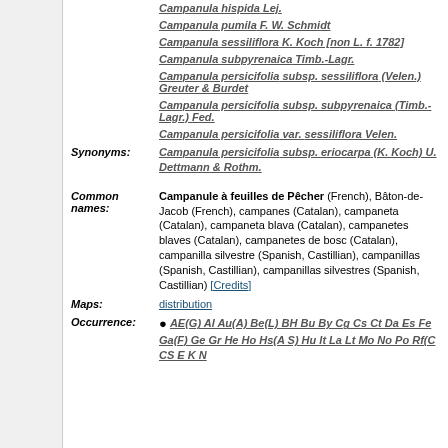Campanula hispida Lej.
Campanula pumila F. W. Schmidt
Campanula sessiliflora K. Koch [non L. f. 1782]
Campanula subpyrenaica Timb.-Lagr.
Campanula persicifolia subsp. sessiliflora (Velen.) Greuter & Burdet
Campanula persicifolia subsp. subpyrenaica (Timb.-Lagr.) Fed.
Campanula persicifolia var. sessiliflora Velen.
Synonyms: Campanula persicifolia subsp. eriocarpa (K. Koch) U. Dettmann & Rothm.
Common names: Campanule à feuilles de Pêcher (French), Bâton-de-Jacob (French), campanes (Catalan), campaneta (Catalan), campaneta blava (Catalan), campanetes blaves (Catalan), campanetes de bosc (Catalan), campanilla silvestre (Spanish, Castillian), campanillas (Spanish, Castillian), campanillas silvestres (Spanish, Castillian) [Credits]
Maps: distribution
Occurrence: • AE(G) Al Au(A) Be(L) BH Bu By Cg Cs Ct Da Es Fe Ga(F) Ge Gr He Ho Hs(A S) Hu It La Lt Mo No Po Rf(C CS E K N...